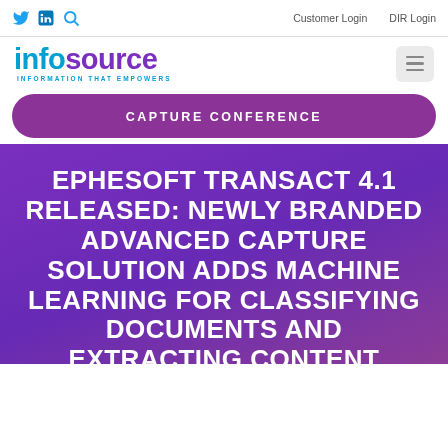Customer Login  DIR Login
[Figure (logo): infosource logo with tagline INFORMATION THAT EMPOWERS]
CAPTURE CONFERENCE
EPHESOFT TRANSACT 4.1 RELEASED: NEWLY BRANDED ADVANCED CAPTURE SOLUTION ADDS MACHINE LEARNING FOR CLASSIFYING DOCUMENTS AND EXTRACTING CONTENT